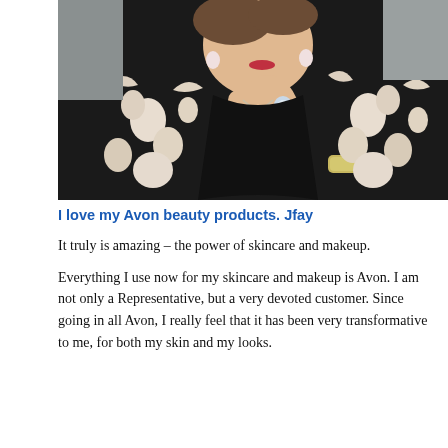[Figure (photo): A woman wearing a black floral dress with white flower patterns, posing with her hand raised near her chin. She is wearing a floral ring, a bracelet, and earrings, with red lipstick.]
I love my Avon beauty products. Jfay
It truly is amazing – the power of skincare and makeup.
Everything I use now for my skincare and makeup is Avon. I am not only a Representative, but a very devoted customer. Since going in all Avon, I really feel that it has been very transformative to me, for both my skin and my looks.